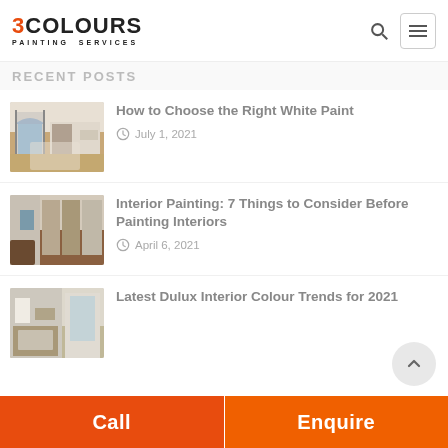3 COLOURS PAINTING SERVICES
RECENT POSTS
[Figure (photo): Interior living room with white walls and arched windows]
How to Choose the Right White Paint
July 1, 2021
[Figure (photo): Interior hallway with dark wood floors and bookshelves]
Interior Painting: 7 Things to Consider Before Painting Interiors
April 6, 2021
[Figure (photo): Interior living room with light walls and window]
Latest Dulux Interior Colour Trends for 2021
Call | Enquire